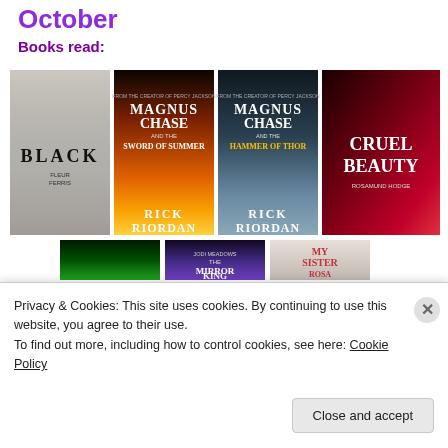October
Books read:
[Figure (photo): Grid of book covers: Black by Fleur Ferris, Magnus Chase and the Sword of Summer by Rick Riordan, Magnus Chase and the Hammer of Thor by Rick Riordan, Cruel Beauty, The Mirror King, My Sister Rosa, and a green-covered book]
Privacy & Cookies: This site uses cookies. By continuing to use this website, you agree to their use.
To find out more, including how to control cookies, see here: Cookie Policy
Close and accept